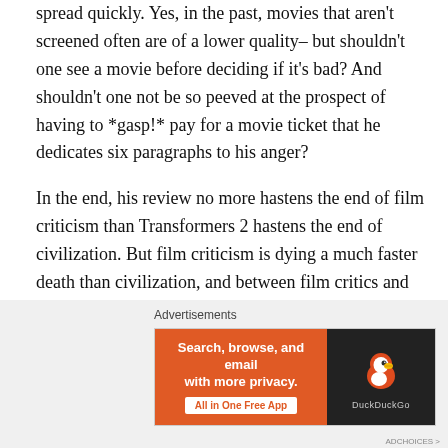spread quickly. Yes, in the past, movies that aren't screened often are of a lower quality– but shouldn't one see a movie before deciding if it's bad? And shouldn't one not be so peeved at the prospect of having to *gasp!* pay for a movie ticket that he dedicates six paragraphs to his anger?
In the end, his review no more hastens the end of film criticism than Transformers 2 hastens the end of civilization. But film criticism is dying a much faster death than civilization, and between film critics and Transformers 2, it seems most of civilized America would be glad to side with Optimus Prime.
[Figure (other): DuckDuckGo advertisement banner: orange background with text 'Search, browse, and email with more privacy. All in One Free App' and DuckDuckGo duck logo on dark background panel.]